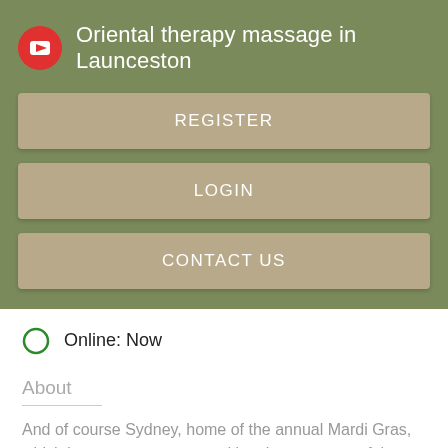Oriental therapy massage in Launceston
REGISTER
LOGIN
CONTACT US
Online: Now
About
And of course Sydney, home of the annual Mardi Gras, which began as a protest and has become one of the